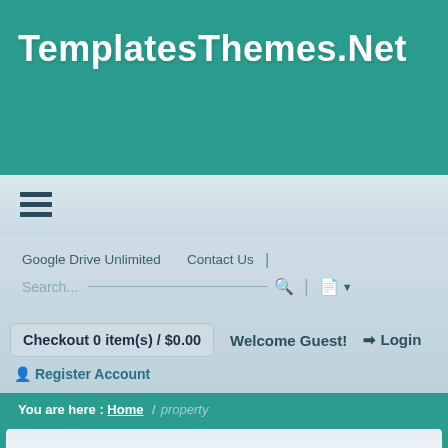TemplatesThemes.Net
[Figure (screenshot): Navigation bar with hamburger menu icon (three horizontal lines)]
Google Drive Unlimited    Contact Us
Search...
Checkout 0 item(s) / $0.00    Welcome Guest!    ➔ Login
Register Account
You are here : Home / property
Tag Search Results
Current Tag / property